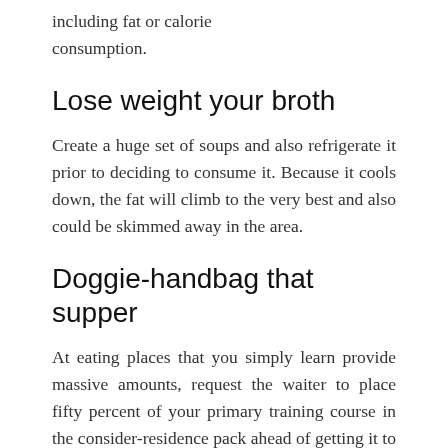including fat or calorie consumption.
Lose weight your broth
Create a huge set of soups and also refrigerate it prior to deciding to consume it. Because it cools down, the fat will climb to the very best and also could be skimmed away in the area.
Doggie-handbag that supper
At eating places that you simply learn provide massive amounts, request the waiter to place fifty percent of your primary training course in the consider-residence pack ahead of getting it to your